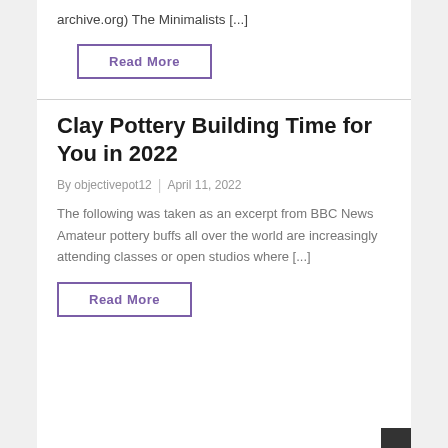archive.org) The Minimalists [...]
Read More
Clay Pottery Building Time for You in 2022
By objectivepot12 | April 11, 2022
The following was taken as an excerpt from BBC News Amateur pottery buffs all over the world are increasingly attending classes or open studios where [...]
Read More